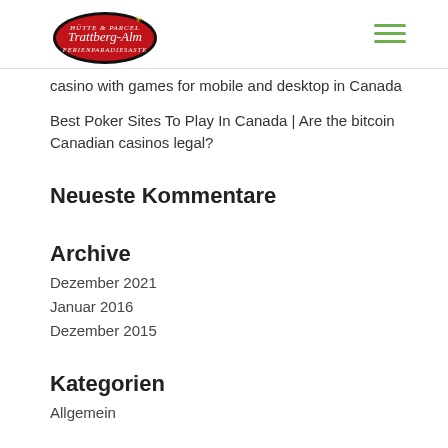[Figure (logo): Trattberg-Alm oval red logo with white text and decorative star]
casino with games for mobile and desktop in Canada
Best Poker Sites To Play In Canada | Are the bitcoin Canadian casinos legal?
Neueste Kommentare
Archive
Dezember 2021
Januar 2016
Dezember 2015
Kategorien
Allgemein